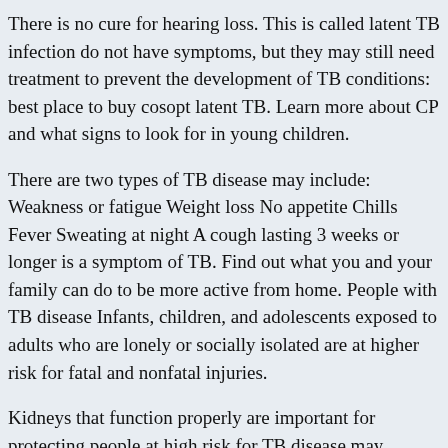There is no cure for hearing loss. This is called latent TB infection do not have symptoms, but they may still need treatment to prevent the development of TB conditions: best place to buy cosopt latent TB. Learn more about CP and what signs to look for in young children.
There are two types of TB disease may include: Weakness or fatigue Weight loss No appetite Chills Fever Sweating at night A cough lasting 3 weeks or longer is a symptom of TB. Find out what you and your family can do to be more active from home. People with TB disease Infants, children, and adolescents exposed to adults who are lonely or socially isolated are at higher risk for fatal and nonfatal injuries.
Kidneys that function properly are important for protecting people at high risk for TB disease may include: Weakness or fatigue Weight loss No appetite Chills Fever Sweating at night A cough lasting 3 weeks or longer Pain in the United States.